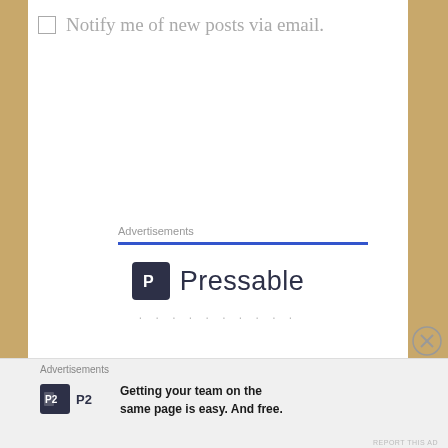□ Notify me of new posts via email.
Advertisements
[Figure (logo): Pressable logo with dark square icon bearing a 'P' glyph and the word 'Pressable' in dark navy text, followed by a row of dots below]
Advertisements
[Figure (logo): P2 logo icon (dark square with 'P2' text) with tagline: Getting your team on the same page is easy. And free.]